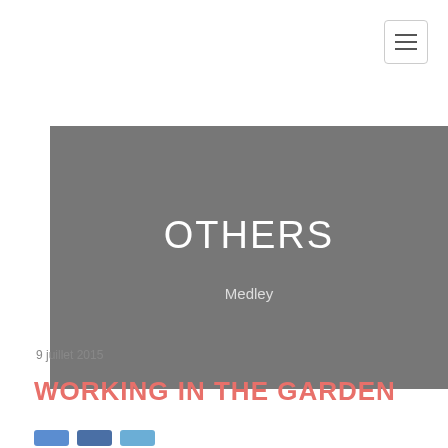[Figure (screenshot): Navigation hamburger menu button in top right corner]
[Figure (illustration): Grey hero banner with 'OTHERS' title and 'Medley' subtitle]
9 juillet 2015
WORKING IN THE GARDEN